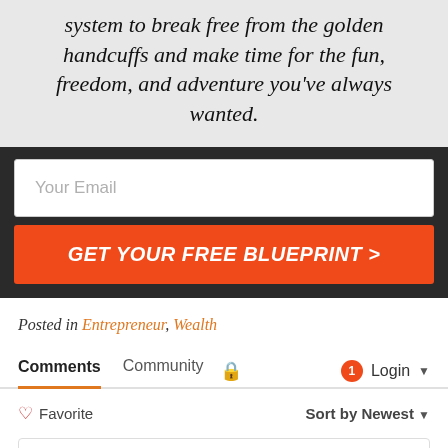system to break free from the golden handcuffs and make time for the fun, freedom, and adventure you've always wanted.
Your Email
GET YOUR FREE BLUEPRINT >
Posted in Entrepreneur, Wealth
Comments  Community  🔒  1  Login
♡ Favorite  Sort by Newest
Start the discussion...
LOG IN WITH